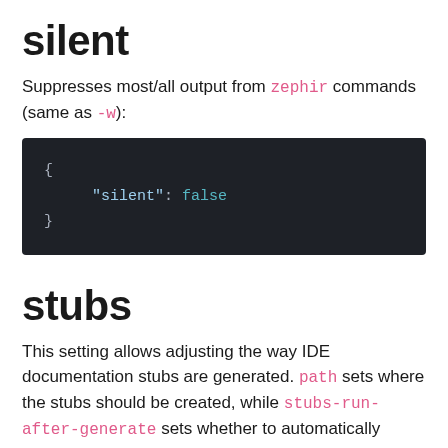silent
Suppresses most/all output from zephir commands (same as -w):
[Figure (screenshot): Dark code block showing JSON: { "silent": false }]
stubs
This setting allows adjusting the way IDE documentation stubs are generated. path sets where the stubs should be created, while stubs-run-after-generate sets whether to automatically (re)build the stubs when your code is compiled to C:
[Figure (screenshot): Dark code block (partial, cut off at bottom)]